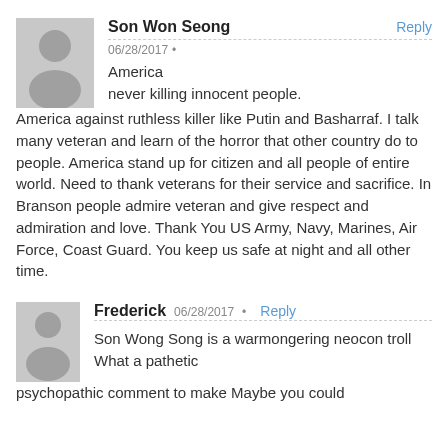Son Won Seong — 06/28/2017 — Reply
America never killing innocent people. America against ruthless killer like Putin and Basharraf. I talk many veteran and learn of the horror that other country do to people. America stand up for citizen and all people of entire world. Need to thank veterans for their service and sacrifice. In Branson people admire veteran and give respect and admiration and love. Thank You US Army, Navy, Marines, Air Force, Coast Guard. You keep us safe at night and all other time.
Frederick — 06/28/2017 — Reply
Son Wong Song is a warmongering neocon troll What a pathetic psychopathic comment to make Maybe you could